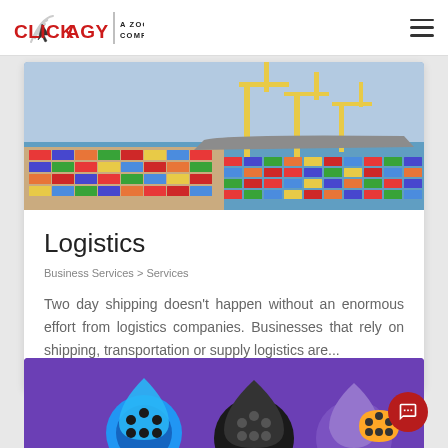CLICKAGY | A ZOOMINFO COMPANY
[Figure (photo): Aerial view of a busy shipping port with colorful cargo containers and cranes]
Logistics
Business Services > Services
Two day shipping doesn't happen without an enormous effort from logistics companies. Businesses that rely on shipping, transportation or supply logistics are...
[Figure (photo): Colorful headphones and audio accessories on a purple background]